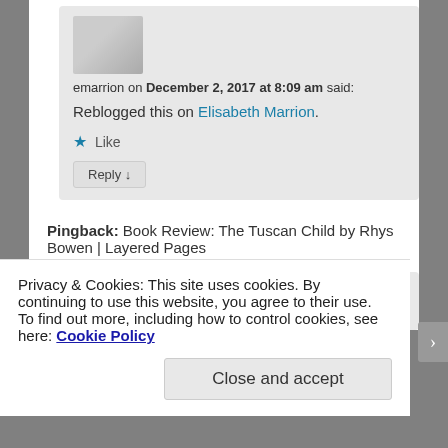[Figure (photo): Avatar/profile photo thumbnail, partially visible at top of comment]
emarrion on December 2, 2017 at 8:09 am said:
Reblogged this on Elisabeth Marrion.
★ Like
Reply ↓
Pingback: Book Review: The Tuscan Child by Rhys Bowen | Layered Pages
Privacy & Cookies: This site uses cookies. By continuing to use this website, you agree to their use.
To find out more, including how to control cookies, see here: Cookie Policy
Close and accept